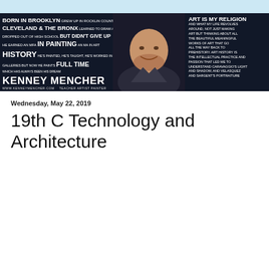[Figure (photo): Banner image of Kenney Mencher with text overlay on dark background. Text reads: BORN IN BROOKLYN GREW UP IN ROCKLIN COUNTY CLEVELAND & THE BRONX LEARNED TO DRAW AT SIX DROPPED OUT OF HIGH SCHOOL BUT DIDN'T GIVE UP HE EARNED AN MFA IN PAINTING AN MA IN ART HISTORY HE'S PAINTED, HE'S TAUGHT, HE'S WORKED IN GALLERIES BUT NOW HE PAINTS FULL TIME WHICH HAS ALWAYS BEEN HIS DREAM / KENNEY MENCHER / TEACHER ARTIST PAINTER. Right side: ART IS MY RELIGION AND WHAT MY LIFE REVOLVES AROUND, NOT JUST MAKING ART BUT THINKING ABOUT ALL THE BEAUTIFUL MEANINGFUL WORKS OF ART THAT GO ALL THE WAY BACK TO PREHISTORY. ART HISTORY IS THE INTELLECTUAL PRACTICE AND PASSION THAT LED ME TO UNDERSTAND CARAVAGGIO'S LIGHT AND SHADOW, AND VELASQUEZ AND SARGENT'S PORTRAITURE]
Wednesday, May 22, 2019
19th C Technology and Architecture